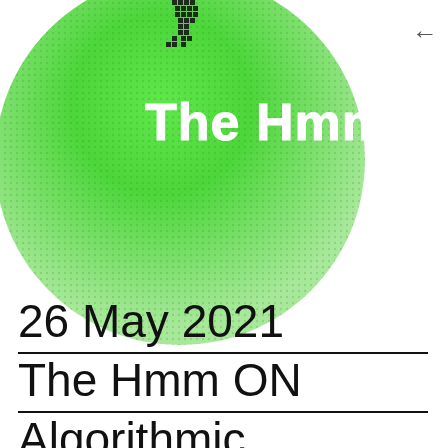[Figure (logo): Circular green halftone logo with 'The Hmm' text in white bold font, with a dotted/halftone lightning bolt at the top center. The circle fades from bright green at top to lighter green at bottom.]
26 May 2021
The Hmm ON
Algorithmic